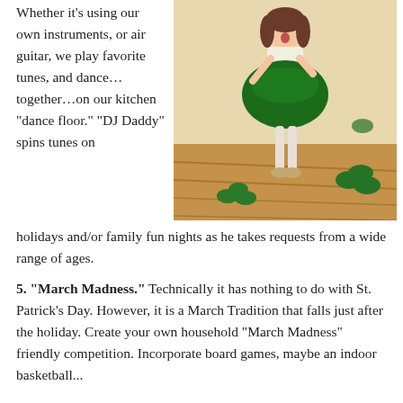Whether it's using our own instruments, or air guitar, we play favorite tunes, and dance...together...on our kitchen “dance floor.” “DJ Daddy” spins tunes on holidays and/or family fun nights as he takes requests from a wide range of ages.
[Figure (photo): A young girl in a green tutu dress dancing on a wooden floor with shamrock cutouts around her, likely for St. Patrick's Day.]
5. “March Madness.” Technically it has nothing to do with St. Patrick’s Day. However, it is a March Tradition that falls just after the holiday. Create your own household “March Madness” friendly competition. Incorporate board games, maybe an indoor basketball...